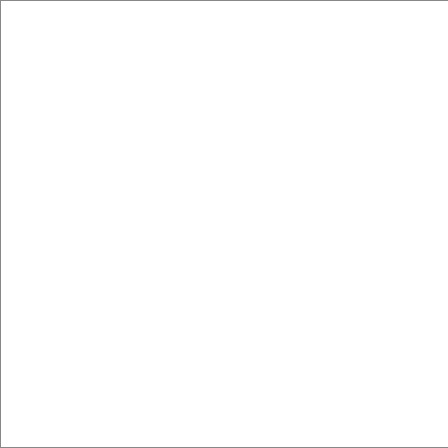"La pri vendre .F41 = shows boat ar Duplica 5.F32a Indexin Mosqu events courtie boating Bospor Ortakö Turkey
11   A9.F25 de Pér 114
25.8 x Captio reads: Pera. N terms: towns; Horse- vehicle Cadde Turkey (Istanb
11   A9.F25 Sultan